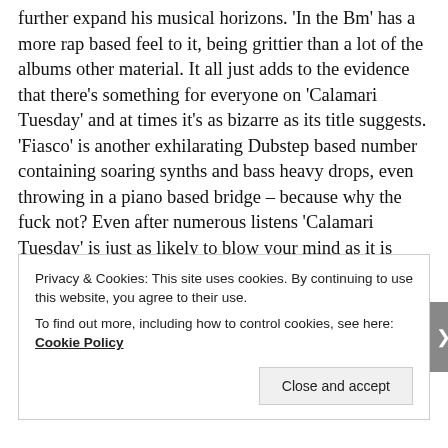further expand his musical horizons. 'In the Bm' has a more rap based feel to it, being grittier than a lot of the albums other material. It all just adds to the evidence that there's something for everyone on 'Calamari Tuesday' and at times it's as bizarre as its title suggests. 'Fiasco' is another exhilarating Dubstep based number containing soaring synths and bass heavy drops, even throwing in a piano based bridge – because why the fuck not? Even after numerous listens 'Calamari Tuesday' is just as likely to blow your mind as it is mellow you out, and I wouldn't have it any other way. Drawn out closer 'Last Requests' is a masterpiece and perfectly caps off a similarly brilliant album which
Privacy & Cookies: This site uses cookies. By continuing to use this website, you agree to their use.
To find out more, including how to control cookies, see here: Cookie Policy
Close and accept